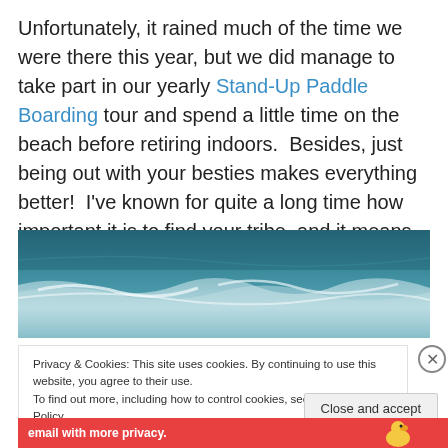Unfortunately, it rained much of the time we were there this year, but we did manage to take part in our yearly Stand-Up Paddle Boarding tour and spend a little time on the beach before retiring indoors.  Besides, just being out with your besties makes everything better!  I've known for quite a long time how important it is to find your tribe, and it means so much in my life that I have found mine.
[Figure (photo): Ocean waves with white foam and blue-green water]
Privacy & Cookies: This site uses cookies. By continuing to use this website, you agree to their use.
To find out more, including how to control cookies, see here: Cookie Policy
Close and accept
email with more privacy.